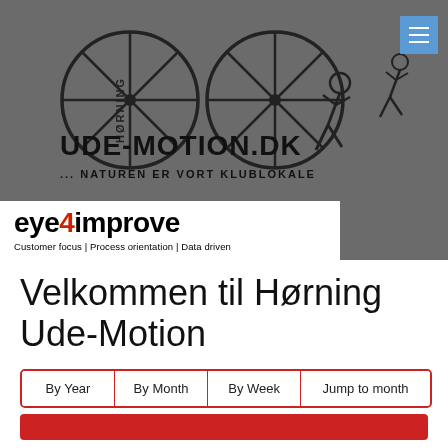[Figure (logo): Hørning Ude-Motion website header with circular wheel logos, cyclist icons, and text 'UDE-MOTION.DK ... NATUREN ER VORT KLUBLOKALE' on dark grey background]
[Figure (logo): eye4improve sponsor logo with tagline 'Customer focus | Process orientation | Data driven']
Velkommen til Hørning Ude-Motion
By Year | By Month | By Week | Jump to month